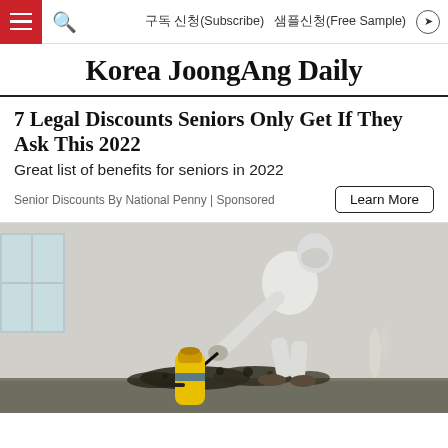구독 신청(Subscribe)   샘플신청(Free Sample)
Korea JoongAng Daily
7 Legal Discounts Seniors Only Get If They Ask This 2022
Great list of benefits for seniors in 2022
Senior Discounts By National Penny | Sponsored
[Figure (photo): Person in white protective suit and mask spraying a mold-covered wall near the floor using a yellow spray tank with a black hose nozzle. Mold visible along base of white wall on grey carpet flooring.]